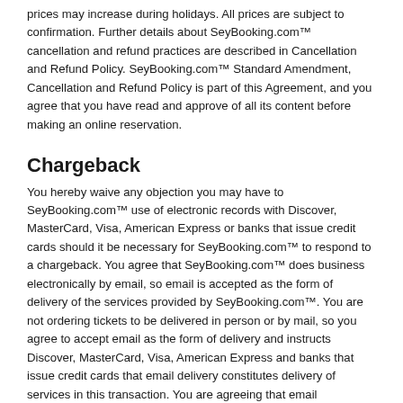prices may increase during holidays. All prices are subject to confirmation. Further details about SeyBooking.com™ cancellation and refund practices are described in Cancellation and Refund Policy. SeyBooking.com™ Standard Amendment, Cancellation and Refund Policy is part of this Agreement, and you agree that you have read and approve of all its content before making an online reservation.
Chargeback
You hereby waive any objection you may have to SeyBooking.com™ use of electronic records with Discover, MasterCard, Visa, American Express or banks that issue credit cards should it be necessary for SeyBooking.com™ to respond to a chargeback. You agree that SeyBooking.com™ does business electronically by email, so email is accepted as the form of delivery of the services provided by SeyBooking.com™. You are not ordering tickets to be delivered in person or by mail, so you agree to accept email as the form of delivery and instructs Discover, MasterCard, Visa, American Express and banks that issue credit cards that email delivery constitutes delivery of services in this transaction. You are agreeing that email constitutes delivery of the services you are